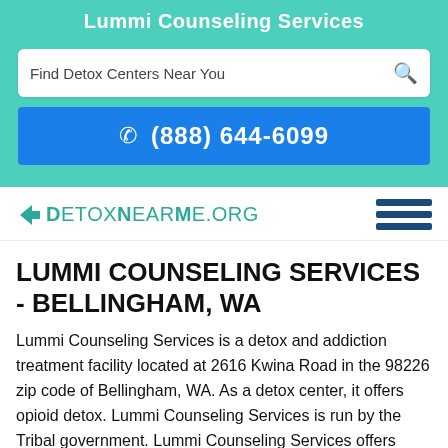Lummi Counseling Services
Find Detox Centers Near You
(888) 644-6099
[Figure (logo): DetoxNearMe.org website logo with teal arrow chevron and hamburger menu icon]
LUMMI COUNSELING SERVICES - BELLINGHAM, WA
Lummi Counseling Services is a detox and addiction treatment facility located at 2616 Kwina Road in the 98226 zip code of Bellingham, WA. As a detox center, it offers opioid detox. Lummi Counseling Services is run by the Tribal government. Lummi Counseling Services offers treatment to